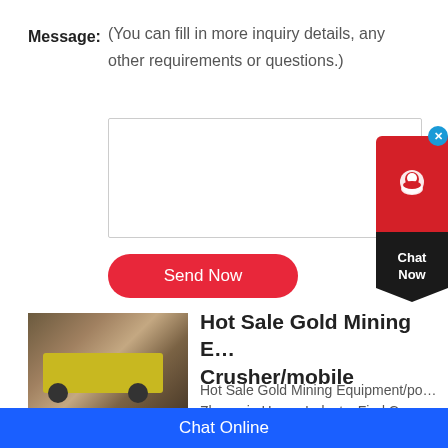Message:
(You can fill in more inquiry details, any other requirements or questions.)
Send Now
[Figure (photo): Photo of gold mining equipment/portable crusher machine on a mining site with rocky terrain]
Hot Sale Gold Mining Equipment/portable Crusher/mobile
Hot Sale Gold Mining Equipment/portable Crusher Zhongxin Heavy Industry,Find Complete Mining Equipment/portable Crusher
Chat Now
Chat Online